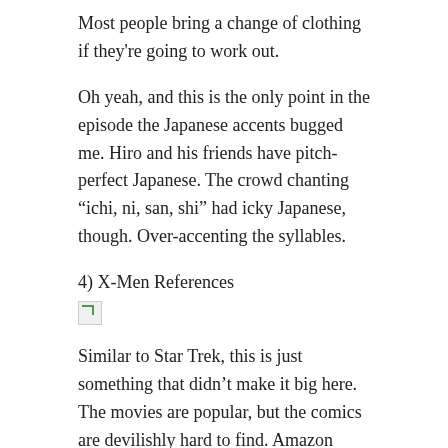Most people bring a change of clothing if they're going to work out.
Oh yeah, and this is the only point in the episode the Japanese accents bugged me. Hiro and his friends have pitch-perfect Japanese. The crowd chanting “ichi, ni, san, shi” had icky Japanese, though. Over-accenting the syllables.
4) X-Men References
[Figure (other): Broken image placeholder]
Similar to Star Trek, this is just something that didn’t make it big here. The movies are popular, but the comics are devilishly hard to find. Amazon doesn’t even list any, besides one that teaches children English. And almost EVERY store has a huge comics section. The only American comics I’ve seen at ALL have been a handful of